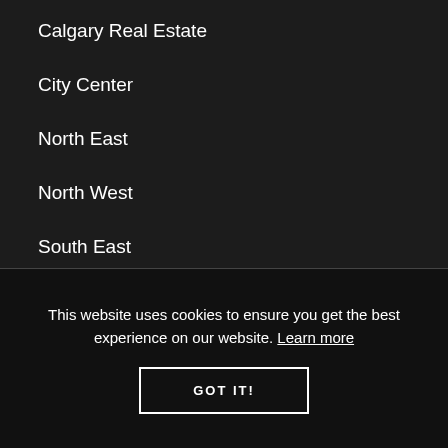Calgary Real Estate
City Center
North East
North West
South East
most popular
This website uses cookies to ensure you get the best experience on our website. Learn more
GOT IT!